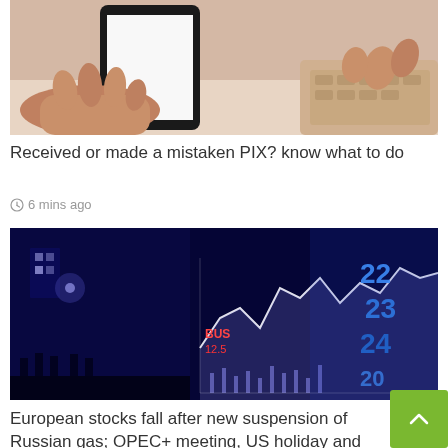[Figure (photo): Hands holding a smartphone with blank white screen next to a laptop keyboard]
Received or made a mistaken PIX? know what to do
6 mins ago
[Figure (photo): Blue illuminated stock market display board with numbers and charts, city street at night in background]
European stocks fall after new suspension of Russian gas; OPEC+ meeting, US holiday and more market affairs today